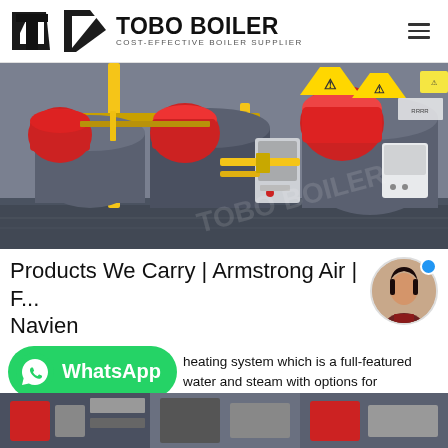TOBO BOILER — COST-EFFECTIVE BOILER SUPPLIER
[Figure (photo): Industrial boiler room with multiple red-capped gas boilers, yellow pipes, control panels, and warning signs on a gray floor.]
Products We Carry | Armstrong Air | F... Navien
[Figure (photo): WhatsApp contact button with green background and person avatar.]
heating system which is a full-featured water and steam with options for tankless heaters and direct vent models. Exceptionally low draft loss to ensure excellent performance across a broad range of…
[Figure (photo): Bottom image strip showing additional boiler/equipment imagery.]